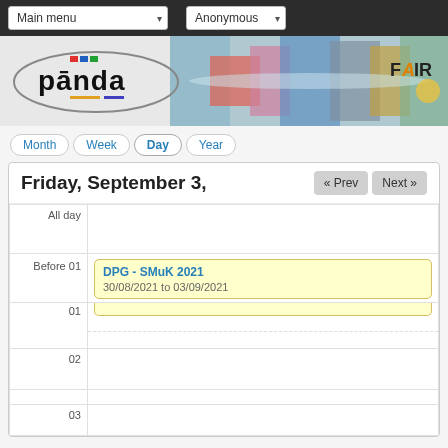Main menu | Anonymous
[Figure (logo): PANDA experiment logo with detector image and FAIR logo]
Month | Week | Day | Year
Friday, September 3,
« Prev  Next »
| Time | Event |
| --- | --- |
| All day |  |
| Before 01 | DPG - SMuK 2021
30/08/2021 to 03/09/2021 |
| 01 |  |
| 02 |  |
| 03 |  |